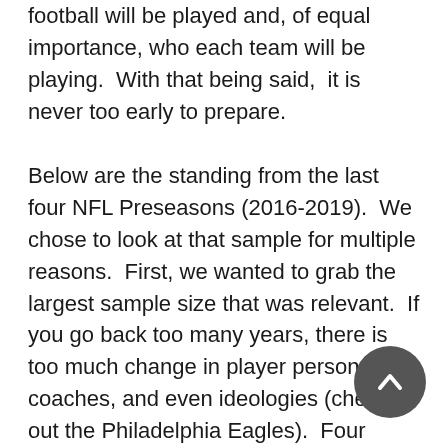football will be played and, of equal importance, who each team will be playing.  With that being said,  it is never too early to prepare.
Below are the standing from the last four NFL Preseasons (2016-2019).  We chose to look at that sample for multiple reasons.  First, we wanted to grab the largest sample size that was relevant.  If you go back too many years, there is too much change in player personnel, coaches, and even ideologies (check out the Philadelphia Eagles).  Four preseasons is 16 games, which just happens to be the same number of games during the regular season.  With that said, only 10 coaches have been on the same team since